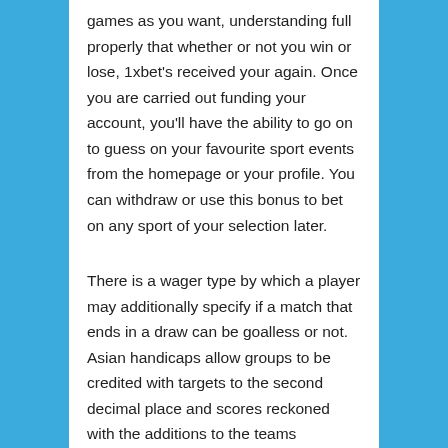games as you want, understanding full properly that whether or not you win or lose, 1xbet's received your again. Once you are carried out funding your account, you'll have the ability to go on to guess on your favourite sport events from the homepage or your profile. You can withdraw or use this bonus to bet on any sport of your selection later.
There is a wager type by which a player may additionally specify if a match that ends in a draw can be goalless or not. Asian handicaps allow groups to be credited with targets to the second decimal place and scores reckoned with the additions to the teams benefitting from the handicap. Punters may additionally guess on their favorite